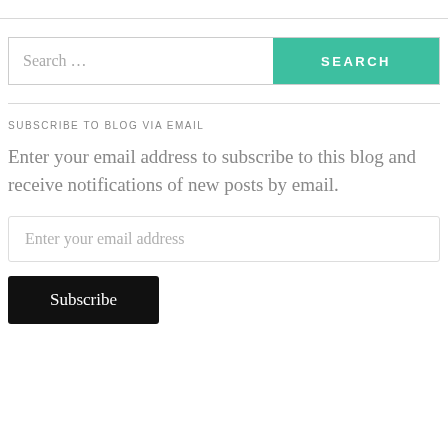[Figure (other): Search bar with text input showing 'Search ...' placeholder and a teal 'SEARCH' button on the right]
SUBSCRIBE TO BLOG VIA EMAIL
Enter your email address to subscribe to this blog and receive notifications of new posts by email.
[Figure (other): Email address input field with placeholder text 'Enter your email address']
[Figure (other): Black 'Subscribe' button]